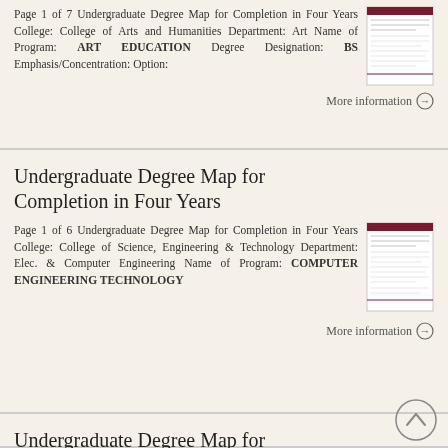Page 1 of 7 Undergraduate Degree Map for Completion in Four Years College: College of Arts and Humanities Department: Art Name of Program: ART EDUCATION Degree Designation: BS Emphasis/Concentration: Option:
More information →
Undergraduate Degree Map for Completion in Four Years
Page 1 of 6 Undergraduate Degree Map for Completion in Four Years College: College of Science, Engineering & Technology Department: Elec. & Computer Engineering Name of Program: COMPUTER ENGINEERING TECHNOLOGY
More information →
Undergraduate Degree Map for